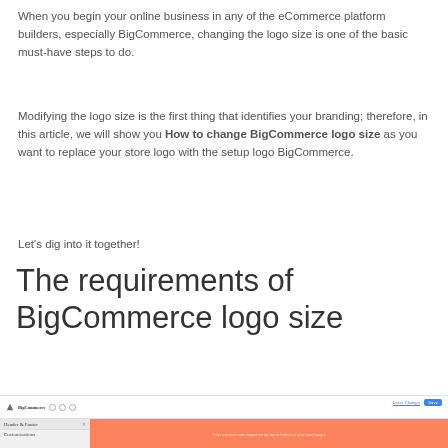When you begin your online business in any of the eCommerce platform builders, especially BigCommerce, changing the logo size is one of the basic must-have steps to do.
Modifying the logo size is the first thing that identifies your branding; therefore, in this article, we will show you How to change BigCommerce logo size as you want to replace your store logo with the setup logo BigCommerce.
Let's dig into it together!
The requirements of BigCommerce logo size
[Figure (screenshot): Screenshot of BigCommerce admin panel showing Header & Footer customization section with orange/red content area and save button]